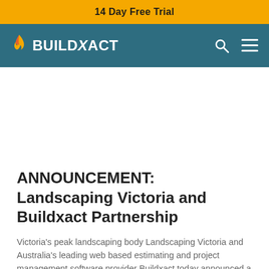14 Day Free Trial
[Figure (logo): Buildxact logo with flame icon on teal navigation bar with search and hamburger menu icons]
ANNOUNCEMENT: Landscaping Victoria and Buildxact Partnership
Victoria's peak landscaping body Landscaping Victoria and Australia's leading web based estimating and project management software provider Buildxact today announced a